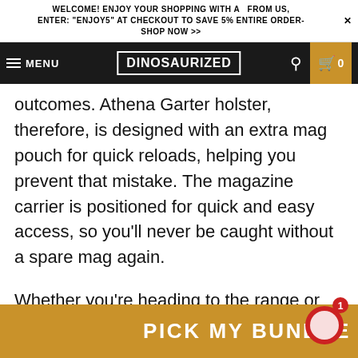WELCOME! ENJOY YOUR SHOPPING WITH A  FROM US, ENTER: "ENJOY5" AT CHECKOUT TO SAVE 5% ENTIRE ORDER- SHOP NOW >>
[Figure (screenshot): Navigation bar with hamburger menu (MENU), DINOSAURIZED logo in center, search icon, and cart icon with 0 items on golden background]
outcomes. Athena Garter holster, therefore, is designed with an extra mag pouch for quick reloads, helping you prevent that mistake. The magazine carrier is positioned for quick and easy access, so you'll never be caught without a spare mag again.
Whether you're heading to the range or need to be prepared for anything, the Athena Garter holster is a handy option.
[Figure (other): Red circular chat button with number 1 badge in top right corner]
PICK MY BUNDLE